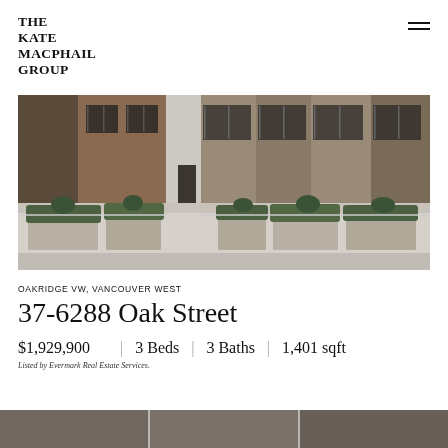THE KATE MACPHAIL GROUP
[Figure (photo): Exterior view of a modern brick and glass building facade with landscaping, planters with shrubs, and large windows]
OAKRIDGE VW, VANCOUVER WEST
37-6288 Oak Street
$1,929,900   |   3 Beds   |   3 Baths   |   1,401 sqft
Listed by Evermark Real Estate Services.
[Figure (photo): Partial view of additional property photos at bottom of page]